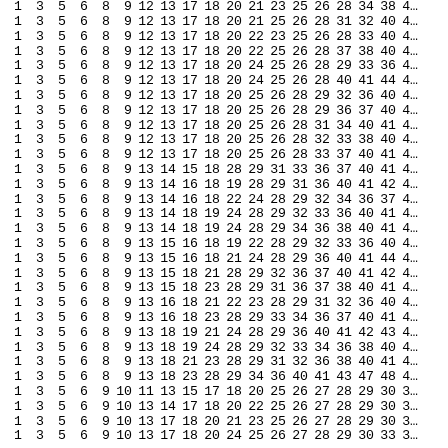| 1 | 3 | 5 | 6 | 8 | 9 | 12 | 13 | 17 | 18 | 20 | 21 | 23 | 25 | 26 | 28 | 34 | 38 | 4… |
| 1 | 3 | 5 | 6 | 8 | 9 | 12 | 13 | 17 | 18 | 20 | 21 | 25 | 26 | 28 | 31 | 32 | 40 | 4… |
| 1 | 3 | 5 | 6 | 8 | 9 | 12 | 13 | 17 | 18 | 20 | 22 | 23 | 25 | 26 | 28 | 33 | 40 | 4… |
| 1 | 3 | 5 | 6 | 8 | 9 | 12 | 13 | 17 | 18 | 20 | 22 | 25 | 26 | 28 | 37 | 38 | 40 | 4… |
| 1 | 3 | 5 | 6 | 8 | 9 | 12 | 13 | 17 | 18 | 20 | 24 | 25 | 26 | 28 | 29 | 33 | 36 | 4… |
| 1 | 3 | 5 | 6 | 8 | 9 | 12 | 13 | 17 | 18 | 20 | 24 | 25 | 26 | 28 | 40 | 41 | 44 | 4… |
| 1 | 3 | 5 | 6 | 8 | 9 | 12 | 13 | 17 | 18 | 20 | 25 | 26 | 28 | 29 | 32 | 36 | 40 | 4… |
| 1 | 3 | 5 | 6 | 8 | 9 | 12 | 13 | 17 | 18 | 20 | 25 | 26 | 28 | 29 | 36 | 37 | 40 | 4… |
| 1 | 3 | 5 | 6 | 8 | 9 | 12 | 13 | 17 | 18 | 20 | 25 | 26 | 28 | 31 | 34 | 40 | 41 | 4… |
| 1 | 3 | 5 | 6 | 8 | 9 | 12 | 13 | 17 | 18 | 20 | 25 | 26 | 28 | 32 | 33 | 38 | 40 | 4… |
| 1 | 3 | 5 | 6 | 8 | 9 | 12 | 13 | 17 | 18 | 20 | 25 | 26 | 28 | 33 | 37 | 40 | 41 | 4… |
| 1 | 3 | 5 | 6 | 8 | 9 | 13 | 14 | 15 | 18 | 28 | 29 | 31 | 33 | 36 | 37 | 40 | 41 | 4… |
| 1 | 3 | 5 | 6 | 8 | 9 | 13 | 14 | 16 | 18 | 19 | 28 | 29 | 31 | 36 | 40 | 41 | 42 | 4… |
| 1 | 3 | 5 | 6 | 8 | 9 | 13 | 14 | 16 | 18 | 22 | 24 | 28 | 29 | 32 | 34 | 36 | 37 | 4… |
| 1 | 3 | 5 | 6 | 8 | 9 | 13 | 14 | 18 | 19 | 24 | 28 | 29 | 32 | 33 | 36 | 40 | 41 | 4… |
| 1 | 3 | 5 | 6 | 8 | 9 | 13 | 14 | 18 | 19 | 24 | 28 | 29 | 34 | 36 | 38 | 40 | 41 | 4… |
| 1 | 3 | 5 | 6 | 8 | 9 | 13 | 15 | 16 | 18 | 19 | 22 | 28 | 29 | 32 | 33 | 36 | 40 | 4… |
| 1 | 3 | 5 | 6 | 8 | 9 | 13 | 15 | 16 | 18 | 21 | 24 | 28 | 29 | 36 | 40 | 41 | 44 | 4… |
| 1 | 3 | 5 | 6 | 8 | 9 | 13 | 15 | 18 | 21 | 28 | 29 | 32 | 36 | 37 | 40 | 41 | 42 | 4… |
| 1 | 3 | 5 | 6 | 8 | 9 | 13 | 15 | 18 | 23 | 28 | 29 | 31 | 36 | 37 | 38 | 40 | 41 | 4… |
| 1 | 3 | 5 | 6 | 8 | 9 | 13 | 16 | 18 | 21 | 22 | 23 | 28 | 29 | 31 | 32 | 36 | 40 | 4… |
| 1 | 3 | 5 | 6 | 8 | 9 | 13 | 16 | 18 | 23 | 28 | 29 | 33 | 34 | 36 | 37 | 40 | 41 | 4… |
| 1 | 3 | 5 | 6 | 8 | 9 | 13 | 18 | 19 | 21 | 24 | 28 | 29 | 36 | 40 | 41 | 42 | 43 | 4… |
| 1 | 3 | 5 | 6 | 8 | 9 | 13 | 18 | 19 | 24 | 28 | 29 | 32 | 33 | 34 | 36 | 38 | 40 | 4… |
| 1 | 3 | 5 | 6 | 8 | 9 | 13 | 18 | 21 | 23 | 28 | 29 | 31 | 32 | 36 | 38 | 40 | 41 | 4… |
| 1 | 3 | 5 | 6 | 8 | 9 | 13 | 18 | 23 | 28 | 29 | 34 | 36 | 40 | 41 | 43 | 47 | 48 | 4… |
| 1 | 3 | 5 | 6 | 9 | 10 | 11 | 13 | 15 | 17 | 18 | 20 | 25 | 26 | 27 | 28 | 29 | 30 | 3… |
| 1 | 3 | 5 | 6 | 9 | 10 | 13 | 14 | 17 | 18 | 20 | 22 | 25 | 26 | 27 | 28 | 29 | 30 | 3… |
| 1 | 3 | 5 | 6 | 9 | 10 | 13 | 17 | 18 | 20 | 21 | 23 | 25 | 26 | 27 | 28 | 29 | 30 | 3… |
| 1 | 3 | 5 | 6 | 9 | 10 | 13 | 17 | 18 | 20 | 24 | 25 | 26 | 27 | 28 | 29 | 30 | 33 | 3… |